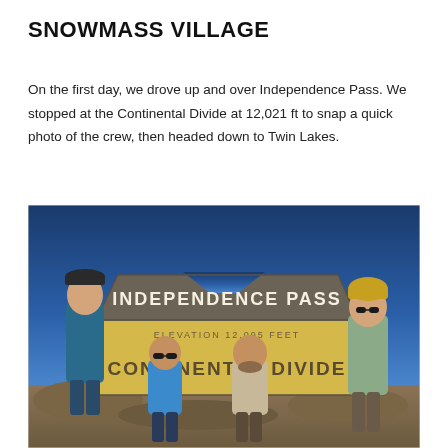SNOWMASS VILLAGE
On the first day, we drove up and over Independence Pass. We stopped at the Continental Divide at 12,021 ft to snap a quick photo of the crew, then headed down to Twin Lakes.
[Figure (photo): Four people standing in front of the Independence Pass sign at the Continental Divide, elevation 12,095 feet. Blue sky in the background. The large brown and yellow sign reads 'INDEPENDENCE PASS / ELEVATION 12,095 FEET / CONTINENTAL DIVIDE'. Two people on the left side and two on the right side of the sign.]